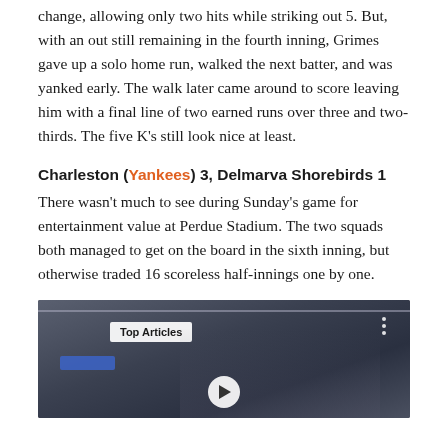change, allowing only two hits while striking out 5. But, with an out still remaining in the fourth inning, Grimes gave up a solo home run, walked the next batter, and was yanked early. The walk later came around to score leaving him with a final line of two earned runs over three and two-thirds. The five K's still look nice at least.
Charleston (Yankees) 3, Delmarva Shorebirds 1
There wasn't much to see during Sunday's game for entertainment value at Perdue Stadium. The two squads both managed to get on the board in the sixth inning, but otherwise traded 16 scoreless half-innings one by one.
[Figure (photo): A video player thumbnail showing baseball players on a field, with a 'Top Articles' badge overlay and a play button at the bottom center.]